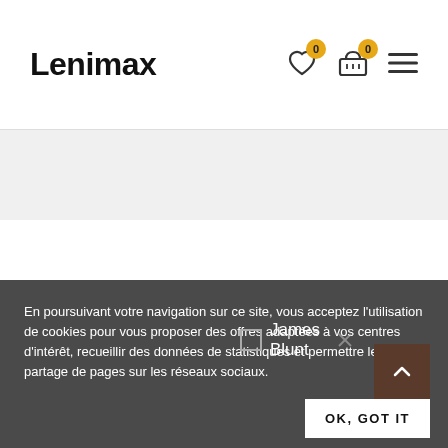Lenimax
[Figure (screenshot): Navigation icons: heart with badge 0, shopping cart with badge 0, hamburger menu]
[Figure (screenshot): Gray band section below header]
En poursuivant votre navigation sur ce site, vous acceptez l'utilisation de cookies pour vous proposer des offres adaptées à vos centres d'intérêt, recueillir des données de statistiques et permettre le partage de pages sur les réseaux sociaux.
James Blunt
OK, GOT IT